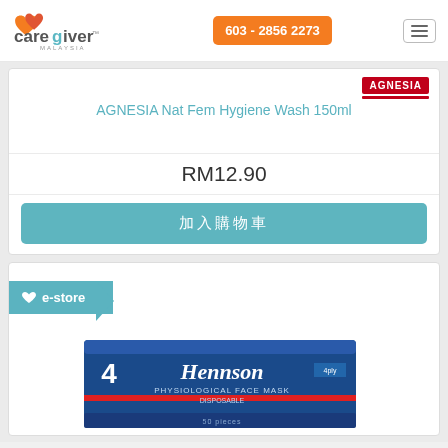caregiver MALAYSIA — 603 - 2856 2273
AGNESIA Nat Fem Hygiene Wash 150ml
RM12.90
加入購物車
[Figure (screenshot): e-store badge with heart icon on second product card showing Hennson Physiological Face Mask box]